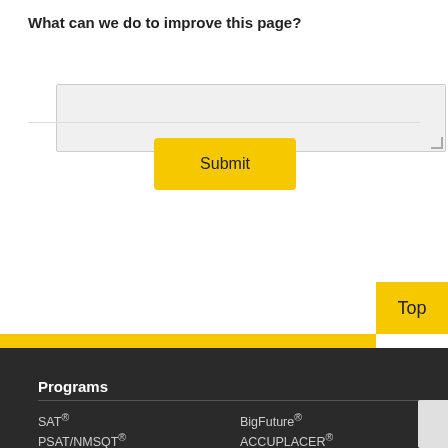What can we do to improve this page?
[textarea input field]
Submit
Top
Programs
SAT®
BigFuture®
PSAT/NMSQT®
ACCUPLACER®